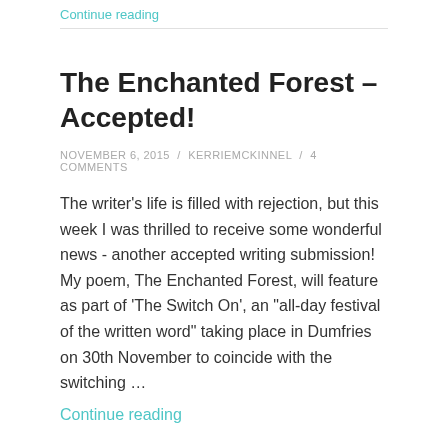Continue reading
The Enchanted Forest – Accepted!
NOVEMBER 6, 2015 / KERRIEMCKINNEL / 4 COMMENTS
The writer's life is filled with rejection, but this week I was thrilled to receive some wonderful news - another accepted writing submission! My poem, The Enchanted Forest, will feature as part of 'The Switch On', an "all-day festival of the written word" taking place in Dumfries on 30th November to coincide with the switching …
Continue reading